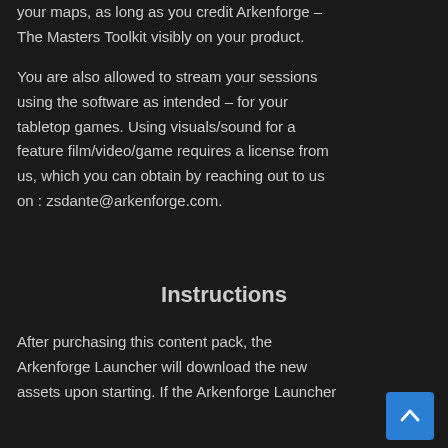your maps, as long as you credit Arkenforge – The Masters Toolkit visibly on your product.
You are also allowed to stream your sessions using the software as intended – for your tabletop games. Using visuals/sound for a feature film/video/game requires a license from us, which you can obtain by reaching out to us on : zsdante@arkenforge.com.
Instructions
After purchasing this content pack, the Arkenforge Launcher will download the new assets upon starting. If the Arkenforge Launcher